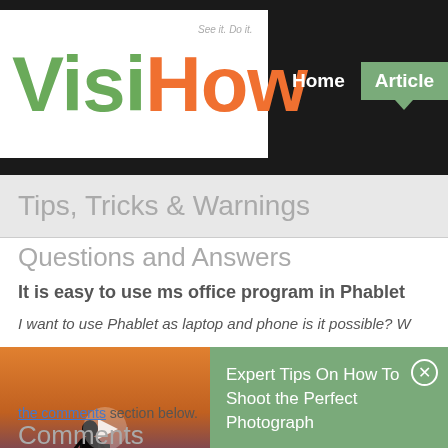[Figure (logo): VisiHow logo with tagline 'See it. Do it.' — 'Visi' in green, 'How' in orange, large bold font on white background]
Home  Articles
Tips, Tricks & Warnings
Questions and Answers
It is easy to use ms office program in Phablet
I want to use Phablet as laptop and phone is it possible? W
[Figure (screenshot): Video ad overlay with silhouette of photographer on tripod at sunset, play button in center, and green panel with text 'Expert Tips On How To Shoot the Perfect Photograph' and close button]
the comments section below.
Comments